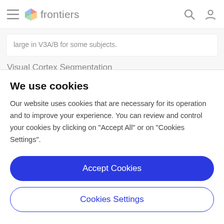frontiers
large in V3A/B for some subjects.
Visual Cortex Segmentation
We measured retinotopic mappings using the traveling
We use cookies
Our website uses cookies that are necessary for its operation and to improve your experience. You can review and control your cookies by clicking on "Accept All" or on "Cookies Settings".
Accept Cookies
Cookies Settings